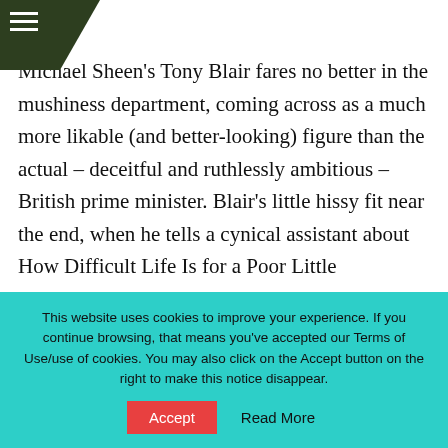Michael Sheen's Tony Blair fares no better in the mushiness department, coming across as a much more likable (and better-looking) figure than the actual – deceitful and ruthlessly ambitious – British prime minister. Blair's little hissy fit near the end, when he tells a cynical assistant about How Difficult Life Is for a Poor Little Multibillionaire Queen, is The Queen's very nadir.
This website uses cookies to improve your experience. If you continue browsing, that means you've accepted our Terms of Use/use of cookies. You may also click on the Accept button on the right to make this notice disappear.